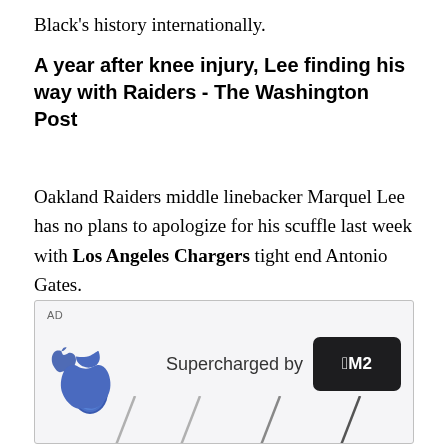Black's history internationally.
A year after knee injury, Lee finding his way with Raiders - The Washington Post
Oakland Raiders middle linebacker Marquel Lee has no plans to apologize for his scuffle last week with Los Angeles Chargers tight end Antonio Gates.
[Figure (other): Apple advertisement showing Apple logo, text 'Supercharged by' with M2 chip badge, and diagonal lines suggesting MacBook laptop design in light gray background]